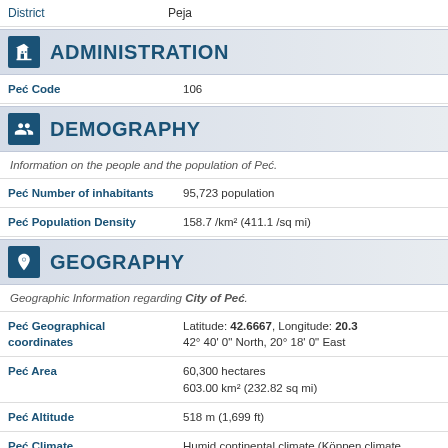District   Peja
ADMINISTRATION
| Field | Value |
| --- | --- |
| Peć Code | 106 |
DEMOGRAPHY
Information on the people and the population of Peć.
| Field | Value |
| --- | --- |
| Peć Number of inhabitants | 95,723 population |
| Peć Population Density | 158.7 /km² (411.1 /sq mi) |
GEOGRAPHY
Geographic Information regarding City of Peć.
| Field | Value |
| --- | --- |
| Peć Geographical coordinates | Latitude: 42.6667, Longitude: 20.3
42° 40' 0" North, 20° 18' 0" East |
| Peć Area | 60,300 hectares
603.00 km² (232.82 sq mi) |
| Peć Altitude | 518 m (1,699 ft) |
| Peć Climate | Humid continental climate (Köppen climate classification: Dfb) |